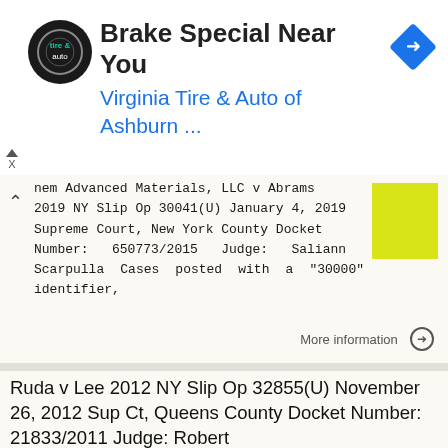[Figure (screenshot): Advertisement banner for Virginia Tire & Auto of Ashburn with logo, navigation icon, and text.]
nem Advanced Materials, LLC v Abrams 2019 NY Slip Op 30041(U) January 4, 2019 Supreme Court, New York County Docket Number: 650773/2015 Judge: Saliann Scarpulla Cases posted with a "30000" identifier,
More information →
Ruda v Lee 2012 NY Slip Op 32855(U) November 26, 2012 Sup Ct, Queens County Docket Number: 21833/2011 Judge: Robert
Ruda v Lee 2012 NY Slip Op 32855(U) November 26, 2012 Sup Ct, Queens County Docket Number: 21833/2011 Judge: Robert J. McDonald Republished from New York State Unified Court System's E-Courts Service.